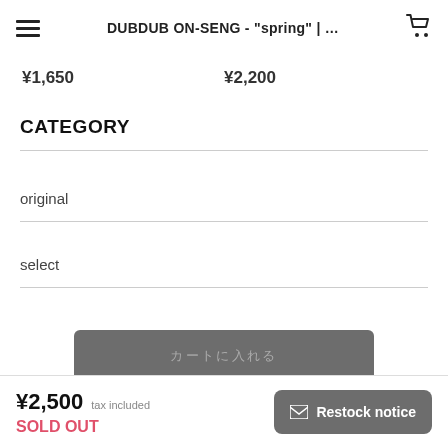DUBDUB ON-SENG - "spring" | ...
¥1,650  ¥2,200
CATEGORY
original
select
カートに入れる
Chat with shop
¥2,500 tax included
SOLD OUT
Restock notice